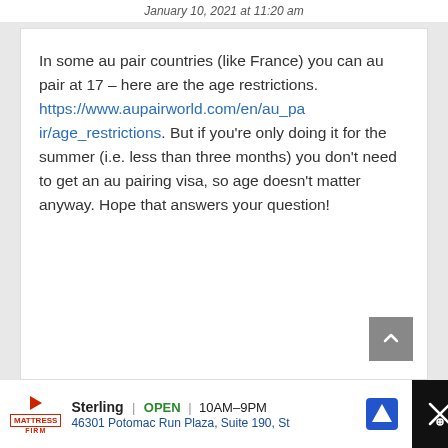January 10, 2021 at 11:20 am
In some au pair countries (like France) you can au pair at 17 – here are the age restrictions. https://www.aupairworld.com/en/au_pair/age_restrictions. But if you're only doing it for the summer (i.e. less than three months) you don't need to get an au pairing visa, so age doesn't matter anyway. Hope that answers your question!
[Figure (screenshot): Advertisement bar for Mattress Firm Sterling, showing OPEN 10AM-9PM, address 46301 Potomac Run Plaza, Suite 190, St]